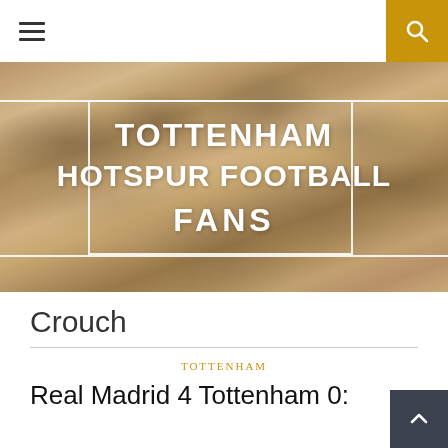☰ [menu] [search]
[Figure (photo): Crowd of Tottenham Hotspur football fans in the stands, with site title overlay reading TOTTENHAM HOTSPUR FOOTBALL FANS in white bold text with white border box]
Crouch
TOTTENHAM
Real Madrid 4 Tottenham 0: